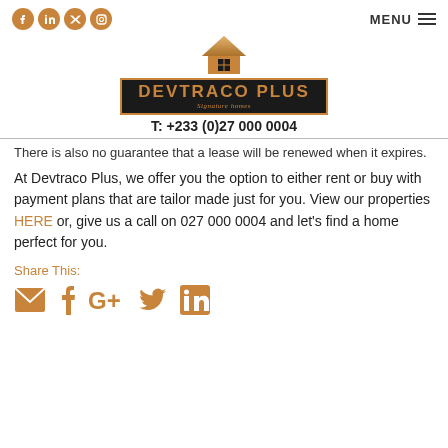Social icons: Facebook, LinkedIn, Twitter, Instagram | MENU
[Figure (logo): Devtraco Plus logo — house icon above text DEVTRACO PLUS Signature homes in gold on dark background]
T: +233 (0)27 000 0004
There is also no guarantee that a lease will be renewed when it expires.
At Devtraco Plus, we offer you the option to either rent or buy with payment plans that are tailor made just for you. View our properties HERE or, give us a call on 027 000 0004 and let’s find a home perfect for you.
Share This:
[Figure (illustration): Share icons: envelope, Facebook, Google+, Twitter, LinkedIn — in gold/brown color]